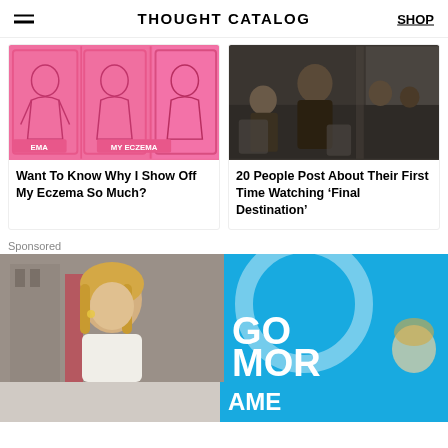THOUGHT CATALOG
[Figure (illustration): Pink illustrated card art showing a woman with eczema, labeled EMA and MY ECZEMA]
Want To Know Why I Show Off My Eczema So Much?
[Figure (photo): Dark film still from Final Destination showing people on an airplane]
20 People Post About Their First Time Watching ‘Final Destination’
Sponsored
[Figure (photo): Sponsored content: blonde woman outdoors, news show graphic with GO MOR AME text on blue background]